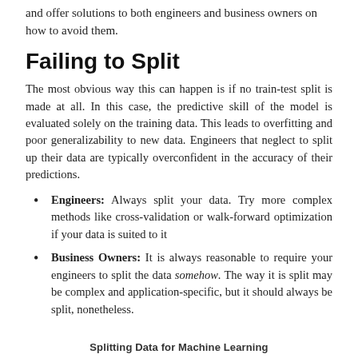and offer solutions to both engineers and business owners on how to avoid them.
Failing to Split
The most obvious way this can happen is if no train-test split is made at all. In this case, the predictive skill of the model is evaluated solely on the training data. This leads to overfitting and poor generalizability to new data. Engineers that neglect to split up their data are typically overconfident in the accuracy of their predictions.
Engineers: Always split your data. Try more complex methods like cross-validation or walk-forward optimization if your data is suited to it
Business Owners: It is always reasonable to require your engineers to split the data somehow. The way it is split may be complex and application-specific, but it should always be split, nonetheless.
Splitting Data for Machine Learning